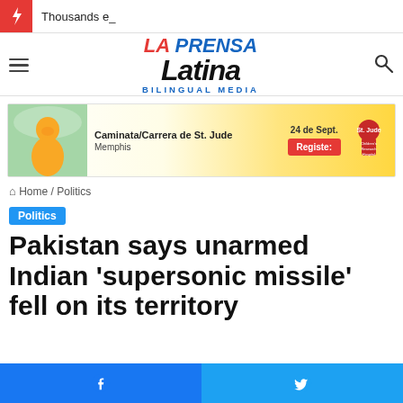Thousands e_
[Figure (logo): La Prensa Latina Bilingual Media logo with hamburger menu and search icon]
[Figure (infographic): St. Jude Children's Research Hospital advertisement: Caminata/Carrera de St. Jude, Memphis, 24 de Sept., Register button]
Home / Politics
Politics
Pakistan says unarmed Indian ‘supersonic missile’ fell on its territory
Facebook share | Twitter share